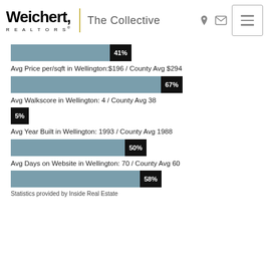Weichert REALTORS | The Collective
[Figure (bar-chart): 41% bar]
Avg Price per/sqft in Wellington:$196 / County Avg $294
[Figure (bar-chart): 67% bar]
Avg Walkscore in Wellington: 4 / County Avg 38
[Figure (bar-chart): 5% bar]
Avg Year Built in Wellington: 1993 / County Avg 1988
[Figure (bar-chart): 50% bar]
Avg Days on Website in Wellington: 70 / County Avg 60
[Figure (bar-chart): 58% bar]
Statistics provided by Inside Real Estate